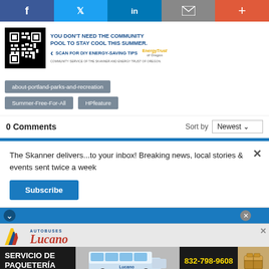[Figure (other): Social media share bar with Facebook, Twitter, LinkedIn, Email, and Plus buttons]
[Figure (other): Energy Trust ad banner with QR code, text 'YOU DON'T NEED THE COMMUNITY POOL TO STAY COOL THIS SUMMER. SCAN FOR DIY ENERGY-SAVING TIPS', EnergyTrust of Oregon logo, community service line]
about-portland-parks-and-recreation
Summer-Free-For-All
HPfeature
0 Comments
Sort by Newest
The Skanner delivers...to your inbox! Breaking news, local stories & events sent twice a week
Subscribe
[Figure (other): Autobuses Lucano ad with bus photo, SERVICIO DE PAQUETERÍA text, phone number 832-798-9608, and cardboard boxes image]